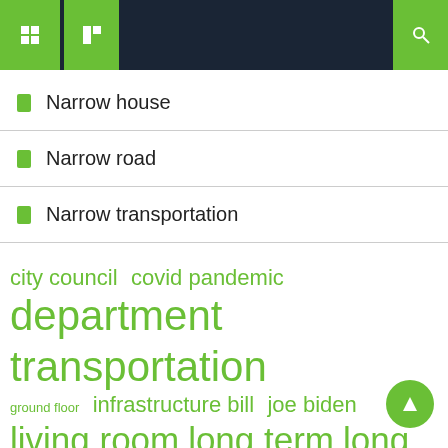Navigation bar with icons
Narrow house
Narrow road
Narrow transportation
city council  covid pandemic  department transportation  ground floor  infrastructure bill  joe biden  living room  long term  long time  narrow road  president joe  public transport  real estate